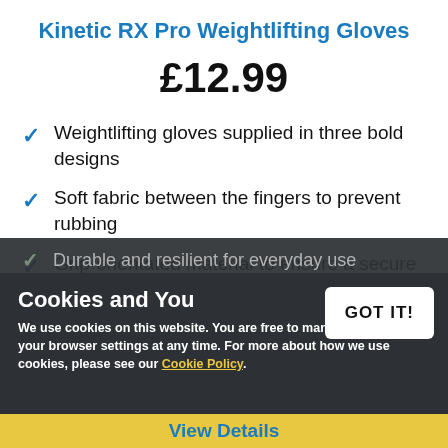Kinetic RX Pro Weightlifting Gloves
£12.99
Weightlifting gloves supplied in three bold designs
Soft fabric between the fingers to prevent rubbing
Grip-orientated material to ensure a secure hold
Durable and resilient for everyday use
In stock now
Cookies and You
We use cookies on this website. You are free to manage these via your browser settings at any time. For more about how we use cookies, please see our Cookie Policy.
View Details